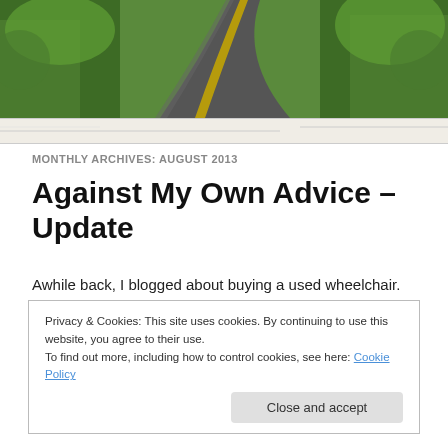[Figure (photo): Aerial/overhead view of a winding country road through green forested trees, with yellow center line markings visible.]
[Figure (map): Thin strip showing a road map background, light beige/tan color with faint road lines and a blue road marker.]
MONTHLY ARCHIVES: AUGUST 2013
Against My Own Advice – Update
Awhile back, I blogged about buying a used wheelchair.
Privacy & Cookies: This site uses cookies. By continuing to use this website, you agree to their use.
To find out more, including how to control cookies, see here: Cookie Policy
[Figure (photo): Partial bottom image, appears to be a person or wheelchair, cropped at bottom of page.]